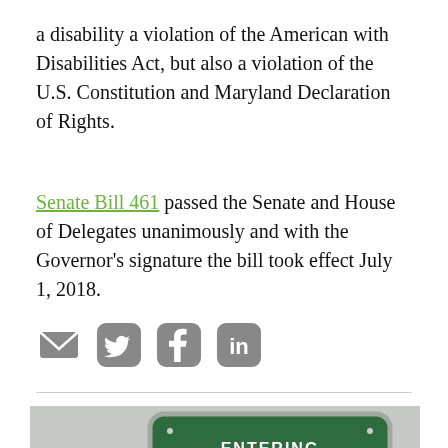a disability a violation of the American with Disabilities Act, but also a violation of the U.S. Constitution and Maryland Declaration of Rights.
Senate Bill 461 passed the Senate and House of Delegates unanimously and with the Governor's signature the bill took effect July 1, 2018.
[Figure (other): Social share icons: email envelope, Twitter bird, Facebook f, LinkedIn in]
[Figure (photo): Road sign reading ENTERING Chehalis Reservation on a foggy grey background]